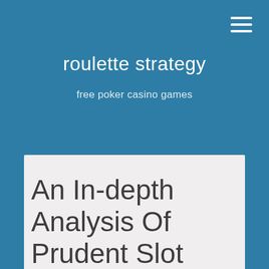roulette strategy
free poker casino games
An In-depth Analysis Of Prudent Slot